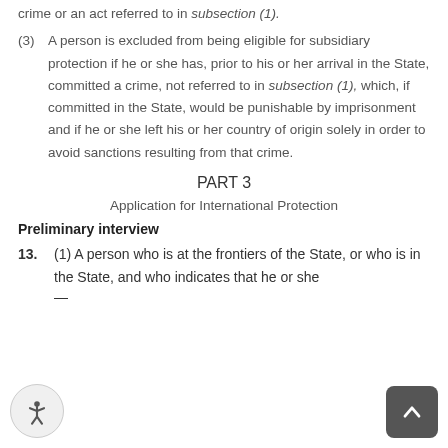crime or an act referred to in subsection (1).
(3) A person is excluded from being eligible for subsidiary protection if he or she has, prior to his or her arrival in the State, committed a crime, not referred to in subsection (1), which, if committed in the State, would be punishable by imprisonment and if he or she left his or her country of origin solely in order to avoid sanctions resulting from that crime.
PART 3
Application for International Protection
Preliminary interview
13. (1) A person who is at the frontiers of the State, or who is in the State, and who indicates that he or she —